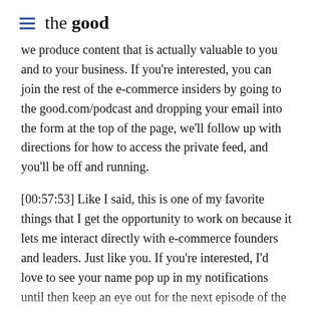≡  the good
we produce content that is actually valuable to you and to your business. If you're interested, you can join the rest of the e-commerce insiders by going to the good.com/podcast and dropping your email into the form at the top of the page, we'll follow up with directions for how to access the private feed, and you'll be off and running.
[00:57:53] Like I said, this is one of my favorite things that I get the opportunity to work on because it lets me interact directly with e-commerce founders and leaders. Just like you. If you're interested, I'd love to see your name pop up in my notifications until then keep an eye out for the next episode of the e-commerce insight show.